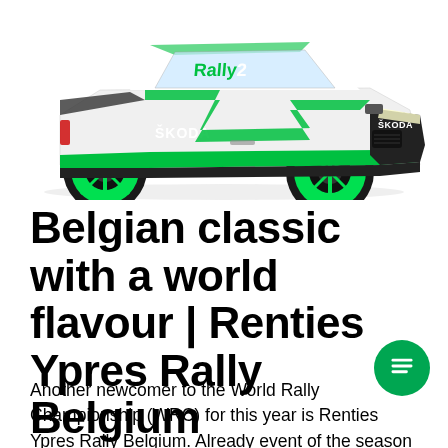[Figure (photo): A Škoda rally car in white, green, and black livery with 'Rally2' branding on the windscreen and 'ŠKODA' written on the doors and front bumper. The car has bright green alloy wheels and is shown from the front-left angle.]
Belgian classic with a world flavour | Renties Ypres Rally Belgium
Another newcomer to the World Rally Championship (WRC) for this year is Renties Ypres Rally Belgium. Already event of the season will be a big unknown for most cr and the treacherous asphalt roads lined with relentless ditches